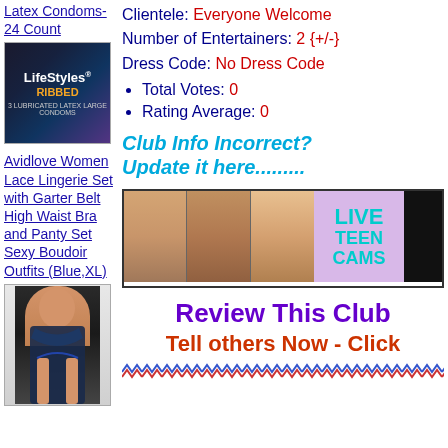Latex Condoms-24 Count
[Figure (photo): LifeStyles Ribbed condom package, dark background with gold text]
Avidlove Women Lace Lingerie Set with Garter Belt High Waist Bra and Panty Set Sexy Boudoir Outfits (Blue,XL)
[Figure (photo): Woman wearing blue lace lingerie set]
Clientele: Everyone Welcome
Number of Entertainers: 2 {+/-}
Dress Code: No Dress Code
Total Votes: 0
Rating Average: 0
Club Info Incorrect? Update it here.........
[Figure (photo): AdultFriendFinder banner ad with Live Teen Cams text and photos of women]
Review This Club
Tell others Now - Click
[Figure (other): Decorative zigzag border in blue and red]